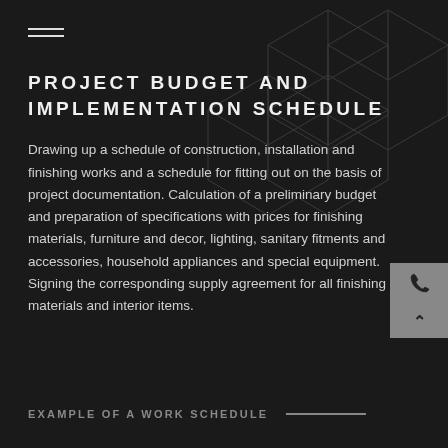[Figure (illustration): Decorative hexagon/cube geometric pattern in background, dark grey on dark background]
PROJECT BUDGET AND IMPLEMENTATION SCHEDULE
Drawing up a schedule of construction, installation and finishing works and a schedule for fitting out on the basis of project documentation. Calculation of a preliminary budget and preparation of specifications with prices for finishing materials, furniture and decor, lighting, sanitary fitments and accessories, household appliances and special equipment. Signing the corresponding supply agreement for all finishing materials and interior items.
EXAMPLE OF A WORK SCHEDULE